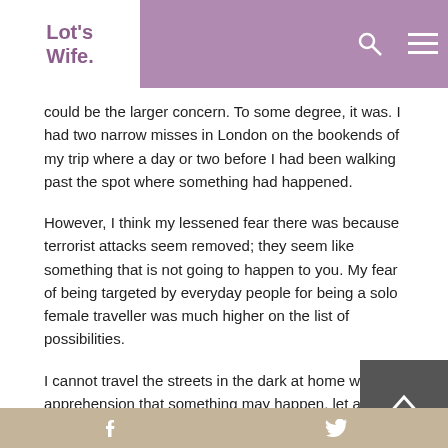Lot's Wife.
could be the larger concern. To some degree, it was. I had two narrow misses in London on the bookends of my trip where a day or two before I had been walking past the spot where something had happened.
However, I think my lessened fear there was because terrorist attacks seem removed; they seem like something that is not going to happen to you. My fear of being targeted by everyday people for being a solo female traveller was much higher on the list of possibilities.
I cannot travel the streets in the dark at home without apprehension that something may happen, let alone on the other side of the world.
f  t